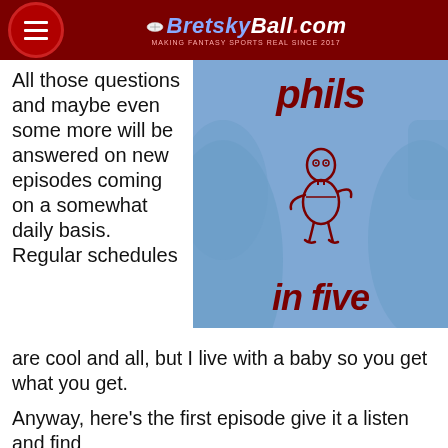BretskyBall.com — MAKING FANTASY SPORTS REAL SINCE 2017
All those questions and maybe even some more will be answered on new episodes coming on a somewhat daily basis. Regular schedules are cool and all, but I live with a baby so you get what you get.
[Figure (illustration): Illustration showing cartoon character (resembling Peter Griffin) with text 'phils in five' on a blue background]
Anyway, here's the first episode give it a listen and find